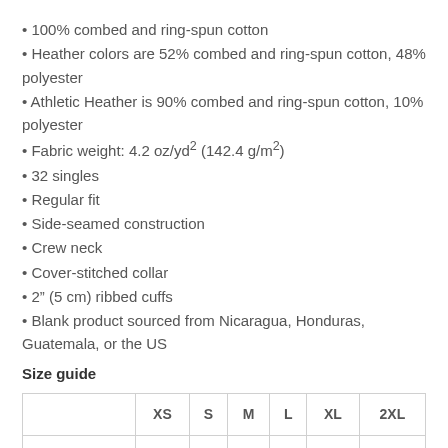100% combed and ring-spun cotton
Heather colors are 52% combed and ring-spun cotton, 48% polyester
Athletic Heather is 90% combed and ring-spun cotton, 10% polyester
Fabric weight: 4.2 oz/yd² (142.4 g/m²)
32 singles
Regular fit
Side-seamed construction
Crew neck
Cover-stitched collar
2" (5 cm) ribbed cuffs
Blank product sourced from Nicaragua, Honduras, Guatemala, or the US
Size guide
|  | XS | S | M | L | XL | 2XL |
| --- | --- | --- | --- | --- | --- | --- |